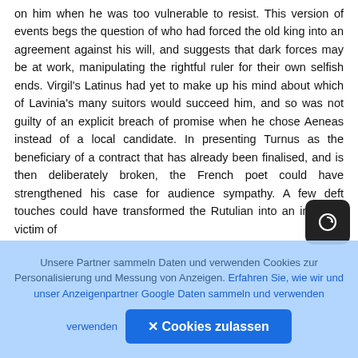on him when he was too vulnerable to resist. This version of events begs the question of who had forced the old king into an agreement against his will, and suggests that dark forces may be at work, manipulating the rightful ruler for their own selfish ends. Virgil's Latinus had yet to make up his mind about which of Lavinia's many suitors would succeed him, and so was not guilty of an explicit breach of promise when he chose Aeneas instead of a local candidate. In presenting Turnus as the beneficiary of a contract that has already been finalised, and is then deliberately broken, the French poet could have strengthened his case for audience sympathy. A few deft touches could have transformed the Rutulian into an innocent victim of
[Figure (other): Dark rounded square button with a circular arrow/navigation icon in white, positioned in the lower-right area of the text]
Unsere Partner sammeln Daten und verwenden Cookies zur Personalisierung und Messung von Anzeigen. Erfahren Sie, wie wir und unser Anzeigenpartner Google Daten sammeln und verwenden
✕ Cookies zulassen